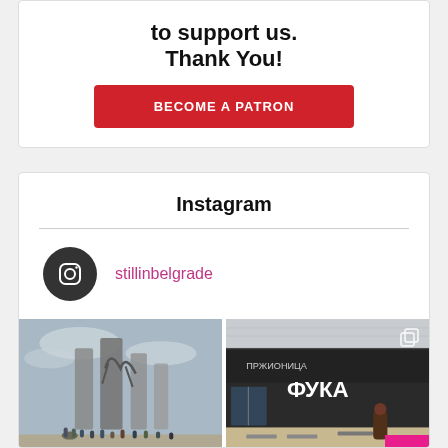to support us.
Thank You!
[Figure (other): Red button labeled BECOME A PATRON]
Instagram
[Figure (other): Instagram logo icon in dark circle next to username stillinbelgrade]
stillinbelgrade
[Figure (photo): Left photo: monument/sculpture with people in front, cloudy sky background. Right photo: street food store with Cyrillic text ФУКА on signage, outdoor seating.]